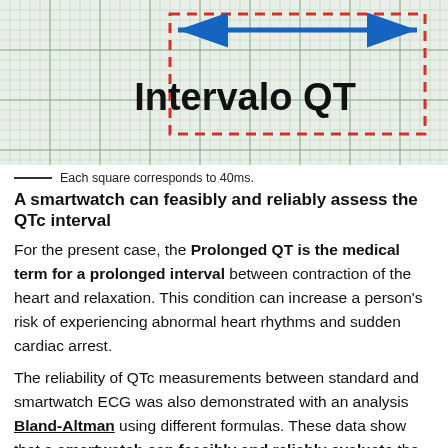[Figure (illustration): ECG grid diagram showing 'Intervalo QT' label with a blue double-headed arrow spanning a dashed red rectangle region, on a grid background.]
Each square corresponds to 40ms.
A smartwatch can feasibly and reliably assess the QTc interval
For the present case, the Prolonged QT is the medical term for a prolonged interval between contraction of the heart and relaxation. This condition can increase a person's risk of experiencing abnormal heart rhythms and sudden cardiac arrest.
The reliability of QTc measurements between standard and smartwatch ECG was also demonstrated with an analysis Bland-Altman using different formulas. These data show that a smartwatch can feasibly and reliably evaluate the QTc interval.
TIP: If you have never checked your QTc before, you can easily do so using the QTc-Calculator application on your